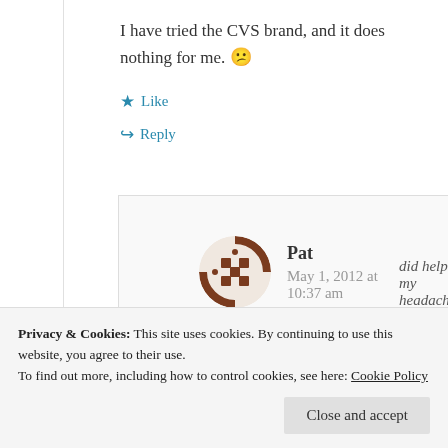I have tried the CVS brand, and it does nothing for me. 😕
★ Like
↪ Reply
Pat
May 1, 2012 at
10:37 am
did help my headache. I
Privacy & Cookies: This site uses cookies. By continuing to use this website, you agree to their use.
To find out more, including how to control cookies, see here: Cookie Policy
Close and accept